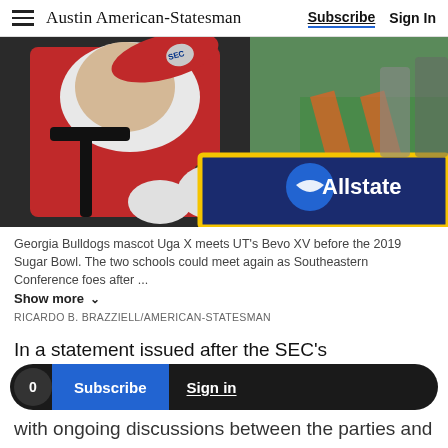Austin American-Statesman | Subscribe | Sign In
[Figure (photo): Georgia Bulldogs mascot Uga X wearing red, leaning against an Allstate Sugar Bowl banner sign, close-up shot at field level]
Georgia Bulldogs mascot Uga X meets UT's Bevo XV before the 2019 Sugar Bowl. The two schools could meet again as Southeastern Conference foes after ... Show more
RICARDO B. BRAZZIELL/AMERICAN-STATESMAN
In a statement issued after the SEC's
with ongoing discussions between the parties and